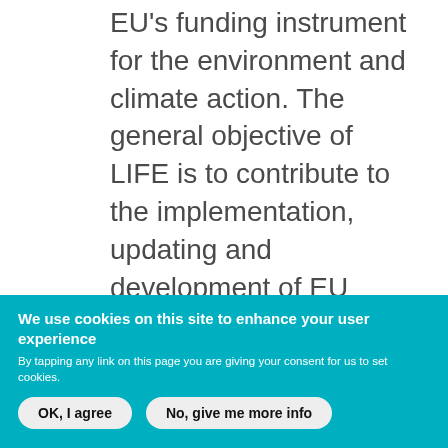EU's funding instrument for the environment and climate action. The general objective of LIFE is to contribute to the implementation, updating and development of EU environmental and climate policy and legislation by co-financing projects with European added value.
We use cookies on this site to enhance your user experience
By tapping any link on this page you are giving your consent for us to set cookies.